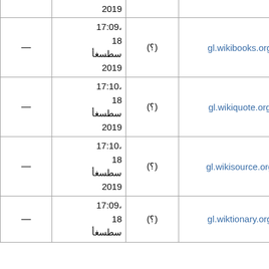|  |  |  |  |
| --- | --- | --- | --- |
|  |  | 2019 |  |
| gl.wikibooks.org | (؟) | 17:09،
18
أغسطس
2019 | — |
| gl.wikiquote.org | (؟) | 17:10،
18
أغسطس
2019 | — |
| gl.wikisource.org | (؟) | 17:10،
18
أغسطس
2019 | — |
| gl.wiktionary.org | (؟) | 17:09،
18
أغسطس | — |